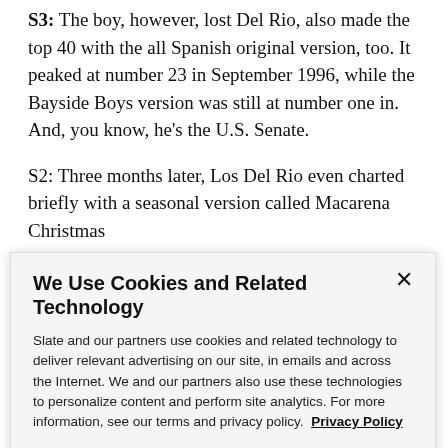S3: The boy, however, lost Del Rio, also made the top 40 with the all Spanish original version, too. It peaked at number 23 in September 1996, while the Bayside Boys version was still at number one in. And, you know, he's the U.S. Senate.
S2: Three months later, Los Del Rio even charted briefly with a seasonal version called Macarena Christmas
We Use Cookies and Related Technology
Slate and our partners use cookies and related technology to deliver relevant advertising on our site, in emails and across the Internet. We and our partners also use these technologies to personalize content and perform site analytics. For more information, see our terms and privacy policy. Privacy Policy